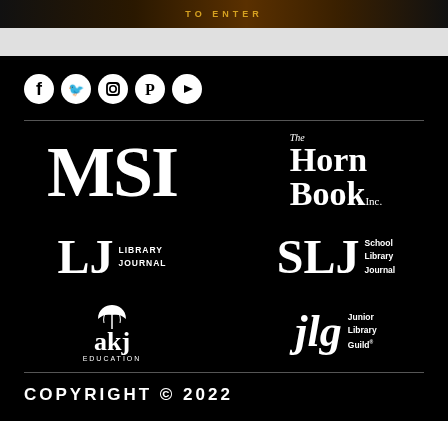[Figure (illustration): Top banner with dark background and stylized text/fire imagery]
[Figure (logo): Social media icons row: Facebook, Twitter, Instagram, Pinterest, YouTube - white circles on black background]
[Figure (logo): MSI logo - large white bold serif letters on black]
[Figure (logo): The Horn Book Inc. logo - white serif text on black]
[Figure (logo): LJ Library Journal logo - white serif letters with stacked text]
[Figure (logo): SLJ School Library Journal logo - white serif letters with stacked text]
[Figure (logo): akj Education logo with leaf/plant icon]
[Figure (logo): jlg Junior Library Guild logo]
COPYRIGHT © 2022